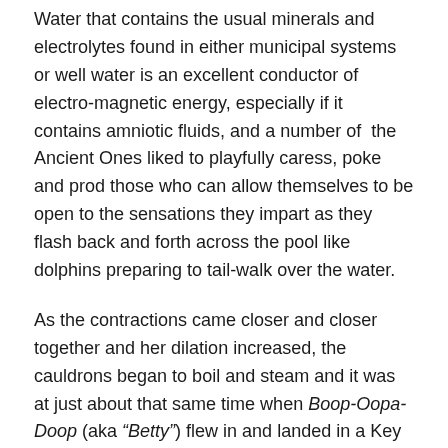Water that contains the usual minerals and electrolytes found in either municipal systems or well water is an excellent conductor of electro-magnetic energy, especially if it contains amniotic fluids, and a number of the Ancient Ones liked to playfully caress, poke and prod those who can allow themselves to be open to the sensations they impart as they flash back and forth across the pool like dolphins preparing to tail-walk over the water.
As the contractions came closer and closer together and her dilation increased, the cauldrons began to boil and steam and it was at just about that same time when Boop-Oopa-Doop (aka "Betty") flew in and landed in a Key Lime tree next to the fires beneath the cauldrons.
“What’s up, Toots?” she asked of no one in particular.
Almost in unison, they waved and replied “Boop-Oopa-